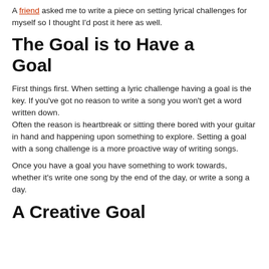A friend asked me to write a piece on setting lyrical challenges for myself so I thought I'd post it here as well.
The Goal is to Have a Goal
First things first. When setting a lyric challenge having a goal is the key. If you've got no reason to write a song you won't get a word written down.
Often the reason is heartbreak or sitting there bored with your guitar in hand and happening upon something to explore. Setting a goal with a song challenge is a more proactive way of writing songs.
Once you have a goal you have something to work towards, whether it's write one song by the end of the day, or write a song a day.
A Creative Goal